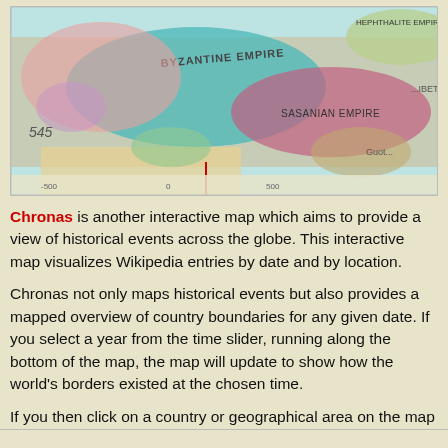[Figure (map): Historical interactive map showing Byzantine Empire, Sasanian Empire, Hephthalite Empire circa year 545 AD with colored regions across Europe, Middle East, and Asia.]
Chronas is another interactive map which aims to provide a view of historical events across the globe. This interactive map visualizes Wikipedia entries by date and by location.
Chronas not only maps historical events but also provides a mapped overview of country boundaries for any given date. If you select a year from the time slider, running along the bottom of the map, the map will update to show how the world's borders existed at the chosen time.
If you then click on a country or geographical area on the map a Wikipedia article on the selected historical region will open in the map sidebar. For example, if you select the year 573 AD from the time slider, you can select the Visigoths region on the map to learn more about these nomadic tribes.